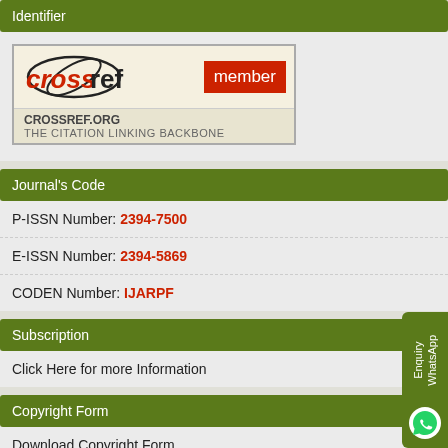Identifier
[Figure (logo): CrossRef member logo with crossref.org and 'THE CITATION LINKING BACKBONE' text]
Journal's Code
P-ISSN Number: 2394-7500
E-ISSN Number: 2394-5869
CODEN Number: IJARPF
Subscription
Click Here for more Information
Copyright Form
Download Copyright Form
Categories